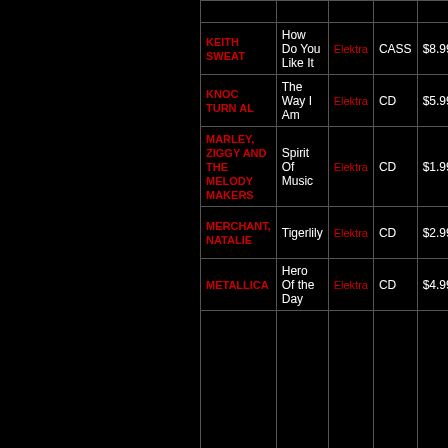| Artist | Title | Label | Format | Price |
| --- | --- | --- | --- | --- |
| KEITH SWEAT | How Do You Like It | Elektra | CASS | $8.99 |
| KNOC TURN AL | The Way I Am | Elektra | CD | $5.99 |
| MARLEY, ZIGGY AND THE MELODY MAKERS | Spirit Of Music | Elektra | CD | $1.99 |
| MERCHANT, NATALIE | Tigerlily | Elektra | CD | $2.99 |
| METALLICA | Hero Of the Day | Elektra | CD | $4.99 |
| MUSICIAN'S GUIDE, THE | Volume 1 | Elektra | LP | $2.99 |